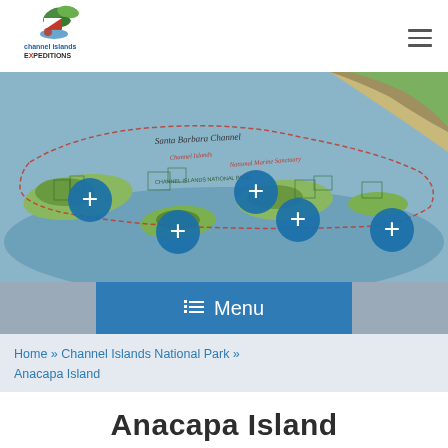Channel Islands Expeditions
[Figure (map): Interactive map of Channel Islands National Park showing islands with blue plus (+) markers. Text reads 'Santa Barbara Channel', 'Channel Islands National Marine Sanctuary', 'Channel Islands National Park'. Multiple blue circular plus buttons overlaid on the map.]
Menu
Home » Channel Islands National Park » Anacapa Island
Anacapa Island